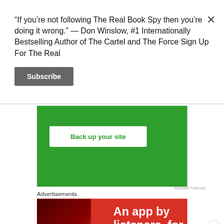“If you’re not following The Real Book Spy then you’re doing it wrong.” — Don Winslow, #1 Internationally Bestselling Author of The Cartel and The Force Sign Up For The Real
[Figure (screenshot): Subscribe button - dark grey rounded rectangle with white bold text 'Subscribe']
[Figure (screenshot): Green advertisement banner with white rounded button containing bold green text 'Back up your site']
Advertisements
[Figure (screenshot): Red advertisement banner for an app, showing a phone on the left and white bold text 'An app by listeners, for' on the right]
Advertisements
[Figure (screenshot): Seamless food delivery advertisement - dark background with pizza image on left, red 'seamless' logo, and white bordered 'ORDER NOW' button]